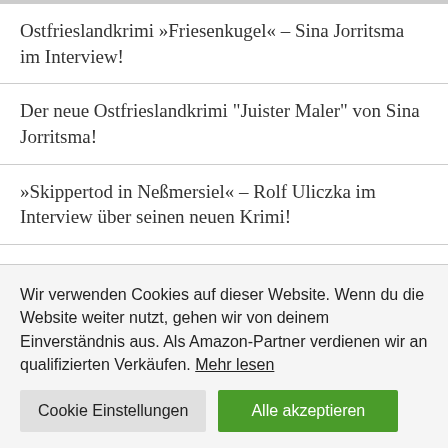Ostfrieslandkrimi »Friesenkugel« – Sina Jorritsma im Interview!
Der neue Ostfrieslandkrimi "Juister Maler" von Sina Jorritsma!
»Skippertod in Neßmersiel« – Rolf Uliczka im Interview über seinen neuen Krimi!
Wir verwenden Cookies auf dieser Website. Wenn du die Website weiter nutzt, gehen wir von deinem Einverständnis aus. Als Amazon-Partner verdienen wir an qualifizierten Verkäufen. Mehr lesen